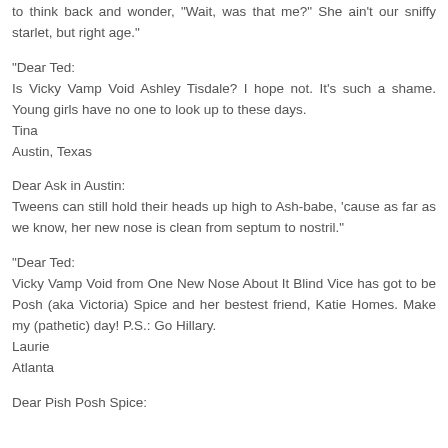to think back and wonder, "Wait, was that me?" She ain't our sniffy starlet, but right age."
"Dear Ted:
Is Vicky Vamp Void Ashley Tisdale? I hope not. It's such a shame. Young girls have no one to look up to these days.
Tina
Austin, Texas
Dear Ask in Austin:
Tweens can still hold their heads up high to Ash-babe, 'cause as far as we know, her new nose is clean from septum to nostril."
"Dear Ted:
Vicky Vamp Void from One New Nose About It Blind Vice has got to be Posh (aka Victoria) Spice and her bestest friend, Katie Homes. Make my (pathetic) day! P.S.: Go Hillary.
Laurie
Atlanta
Dear Pish Posh Spice: